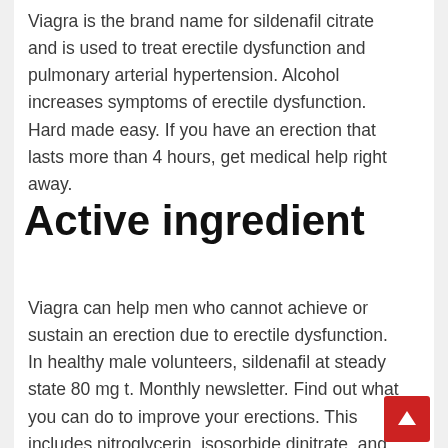Viagra is the brand name for sildenafil citrate and is used to treat erectile dysfunction and pulmonary arterial hypertension. Alcohol increases symptoms of erectile dysfunction. Hard made easy. If you have an erection that lasts more than 4 hours, get medical help right away.
Active ingredient
Viagra can help men who cannot achieve or sustain an erection due to erectile dysfunction. In healthy male volunteers, sildenafil at steady state 80 mg t. Monthly newsletter. Find out what you can do to improve your erections. This includes nitroglycerin, isosorbide dinitrate, and isosorbide mononitrate. This means it will stay in-date for 5 years after the manufacture date